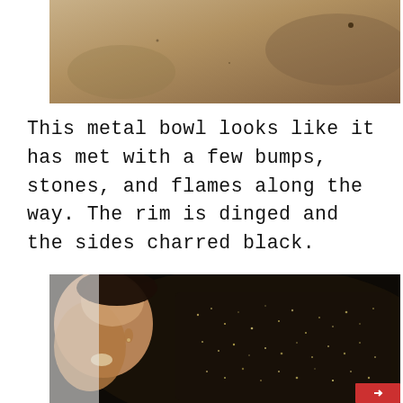[Figure (photo): Top portion of a metal bowl or surface with sandy/earthy texture, showing worn and aged appearance with brown and tan tones]
This metal bowl looks like it has met with a few bumps, stones, and flames along the way. The rim is dinged and the sides charred black.
[Figure (photo): Close-up photograph of a person's head/hair and a dark charred metal bowl surface with sparkling/glittery texture, dark brown and black tones]